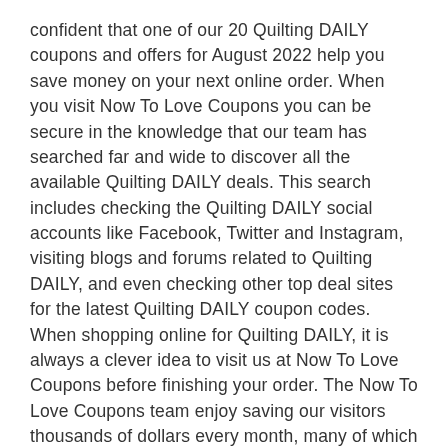confident that one of our 20 Quilting DAILY coupons and offers for August 2022 help you save money on your next online order. When you visit Now To Love Coupons you can be secure in the knowledge that our team has searched far and wide to discover all the available Quilting DAILY deals. This search includes checking the Quilting DAILY social accounts like Facebook, Twitter and Instagram, visiting blogs and forums related to Quilting DAILY, and even checking other top deal sites for the latest Quilting DAILY coupon codes.
When shopping online for Quilting DAILY, it is always a clever idea to visit us at Now To Love Coupons before finishing your order. The Now To Love Coupons team enjoy saving our visitors thousands of dollars every month, many of which never knew Quilting DAILY discount codes were available until visiting our site. Now armed with the knowledge of how easy it is to